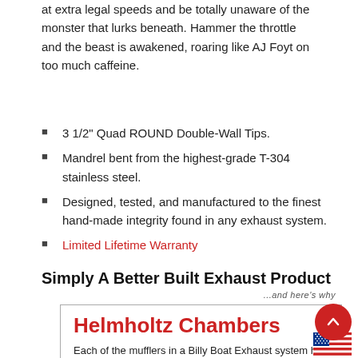at extra legal speeds and be totally unaware of the monster that lurks beneath. Hammer the throttle and the beast is awakened, roaring like AJ Foyt on too much caffeine.
3 1/2" Quad ROUND Double-Wall Tips.
Mandrel bent from the highest-grade T-304 stainless steel.
Designed, tested, and manufactured to the finest hand-made integrity found in any exhaust system.
Limited Lifetime Warranty
Simply A Better Built Exhaust Product
...and here's why
Helmholtz Chambers
Each of the mufflers in a Billy Boat Exhaust system has a reflection component to it.  We use internal Helmholtz chambers in each